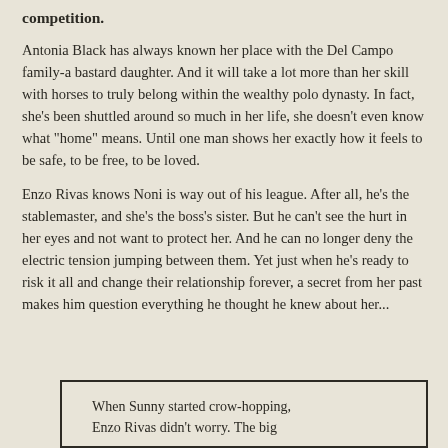competition.
Antonia Black has always known her place with the Del Campo family-a bastard daughter. And it will take a lot more than her skill with horses to truly belong within the wealthy polo dynasty. In fact, she's been shuttled around so much in her life, she doesn't even know what "home" means. Until one man shows her exactly how it feels to be safe, to be free, to be loved.
Enzo Rivas knows Noni is way out of his league. After all, he's the stablemaster, and she's the boss's sister. But he can't see the hurt in her eyes and not want to protect her. And he can no longer deny the electric tension jumping between them. Yet just when he's ready to risk it all and change their relationship forever, a secret from her past makes him question everything he thought he knew about her...
When Sunny started crow-hopping, Enzo Rivas didn't worry. The big